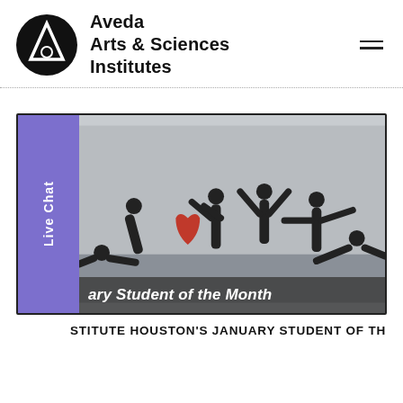Aveda Arts & Sciences Institutes
[Figure (photo): Group of students dressed in black posing against a wall spelling out LOVE with their bodies; overlaid text reads 'ary Student of the Month']
STITUTE HOUSTON'S JANUARY STUDENT OF TH